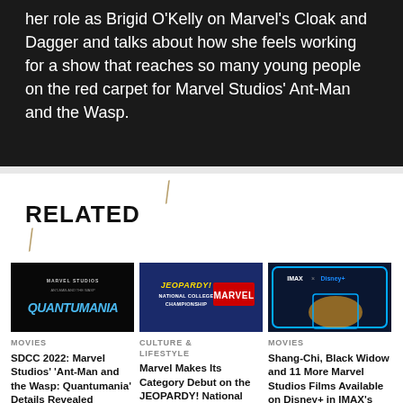her role as Brigid O'Kelly on Marvel's Cloak and Dagger and talks about how she feels working for a show that reaches so many young people on the red carpet for Marvel Studios' Ant-Man and the Wasp.
RELATED
[Figure (photo): Dark background with Ant-Man and the Wasp: Quantumania blue glowing logo text]
MOVIES
SDCC 2022: Marvel Studios' 'Ant-Man and the Wasp: Quantumania' Details Revealed
[Figure (photo): Jeopardy National College Championship with Marvel logo on blue background]
CULTURE & LIFESTYLE
Marvel Makes Its Category Debut on the JEOPARDY! National College Championship
[Figure (photo): IMAX x Disney+ promotional image with a Marvel character in golden glow]
MOVIES
Shang-Chi, Black Widow and 11 More Marvel Studios Films Available on Disney+ in IMAX's